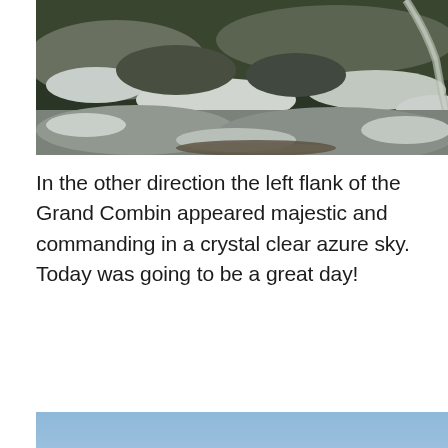[Figure (photo): Snow-covered mountain path and rocky terrain with patches of snow on grass and rocks, viewed from above. A winding trail is visible in the upper right corner.]
In the other direction the left flank of the Grand Combin appeared majestic and commanding in a crystal clear azure sky. Today was going to be a great day!
[Figure (photo): A snow-capped mountain peak (Grand Combin) rising dramatically through swirling clouds and mist against a clear blue sky, with sunlight illuminating the summit.]